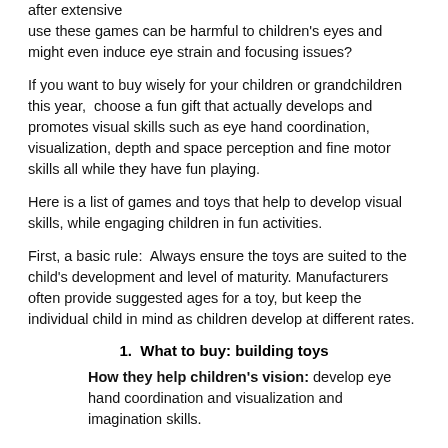after extensive use these games can be harmful to children's eyes and might even induce eye strain and focusing issues?
If you want to buy wisely for your children or grandchildren this year,  choose a fun gift that actually develops and promotes visual skills such as eye hand coordination, visualization, depth and space perception and fine motor skills all while they have fun playing.
Here is a list of games and toys that help to develop visual skills, while engaging children in fun activities.
First, a basic rule:  Always ensure the toys are suited to the child's development and level of maturity. Manufacturers often provide suggested ages for a toy, but keep the individual child in mind as children develop at different rates.
1.  What to buy: building toys
How they help children's vision: develop eye hand coordination and visualization and imagination skills.